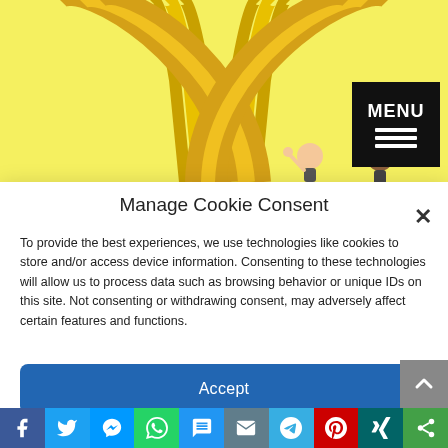[Figure (illustration): Yellow background illustration showing cartoon banana characters and figures at top of page]
Manage Cookie Consent
To provide the best experiences, we use technologies like cookies to store and/or access device information. Consenting to these technologies will allow us to process data such as browsing behavior or unique IDs on this site. Not consenting or withdrawing consent, may adversely affect certain features and functions.
Accept
Deny
View preferences
[Figure (infographic): Social media sharing bar at bottom with icons for Facebook, Twitter, Messenger, WhatsApp, SMS, Email, Telegram, Pinterest, Xing, and More]